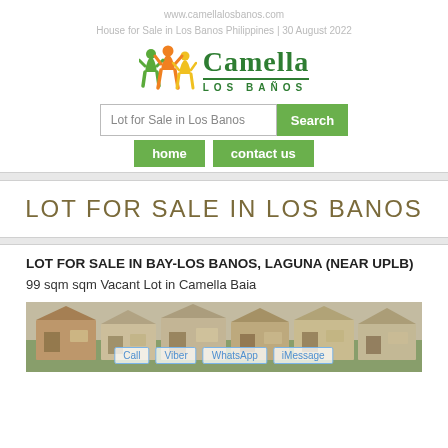www.camellalosbanos.com
House for Sale in Los Banos Philippines | 30 August 2022
[Figure (logo): Camella Los Banos logo with figures icon and green text]
Lot for Sale in Los Banos [Search]
home | contact us
LOT FOR SALE IN LOS BANOS
LOT FOR SALE IN BAY-LOS BANOS, LAGUNA (NEAR UPLB)
99 sqm sqm Vacant Lot in Camella Baia
[Figure (photo): Photo of Camella Baia houses with Call, Viber, WhatsApp, iMessage buttons overlay]